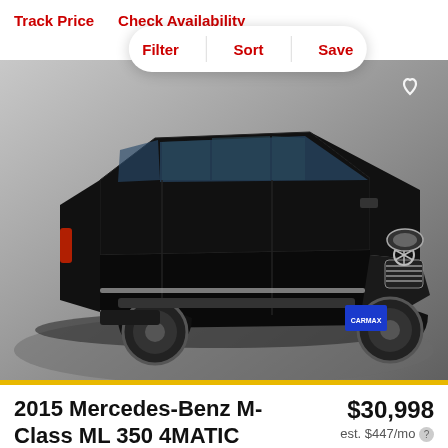Track Price   Check Availability
Filter  Sort  Save
[Figure (photo): Black 2015 Mercedes-Benz M-Class ML 350 4MATIC SUV photographed in a studio setting against a light grey background. The vehicle is shown from a front three-quarter angle, displaying chrome grille, Mercedes-Benz star emblem, and alloy wheels. A CarMax dealer plate is visible on the rear bumper.]
2015 Mercedes-Benz M-Class ML 350 4MATIC
$30,998
est. $447/mo